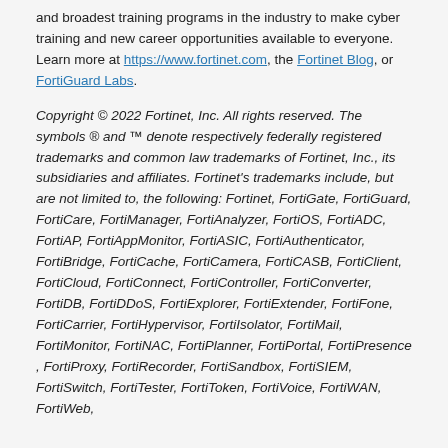and broadest training programs in the industry to make cyber training and new career opportunities available to everyone. Learn more at https://www.fortinet.com, the Fortinet Blog, or FortiGuard Labs.
Copyright © 2022 Fortinet, Inc. All rights reserved. The symbols ® and ™ denote respectively federally registered trademarks and common law trademarks of Fortinet, Inc., its subsidiaries and affiliates. Fortinet's trademarks include, but are not limited to, the following: Fortinet, FortiGate, FortiGuard, FortiCare, FortiManager, FortiAnalyzer, FortiOS, FortiADC, FortiAP, FortiAppMonitor, FortiASIC, FortiAuthenticator, FortiBridge, FortiCache, FortiCamera, FortiCASB, FortiClient, FortiCloud, FortiConnect, FortiController, FortiConverter, FortiDB, FortiDDoS, FortiExplorer, FortiExtender, FortiFone, FortiCarrier, FortiHypervisor, FortiIsolator, FortiMail, FortiMonitor, FortiNAC, FortiPlanner, FortiPortal, FortiPresence , FortiProxy, FortiRecorder, FortiSandbox, FortiSIEM, FortiSwitch, FortiTester, FortiToken, FortiVoice, FortiWAN, FortiWeb,